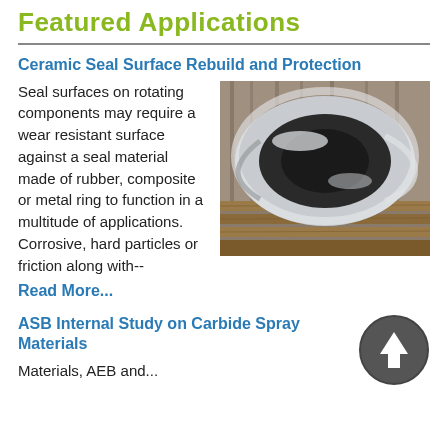Featured Applications
Ceramic Seal Surface Rebuild and Protection
Seal surfaces on rotating components may require a wear resistant surface against a seal material made of rubber, composite or metal ring to function in a multitude of applications. Corrosive, hard particles or friction along with--
[Figure (photo): Photo of a large metallic ring/seal component sitting on wooden pallets in an industrial setting, showing a polished silver annular ring with a black center band.]
Read More...
ASB Internal Study on Carbide Spray Materials
Materials, AEB and...